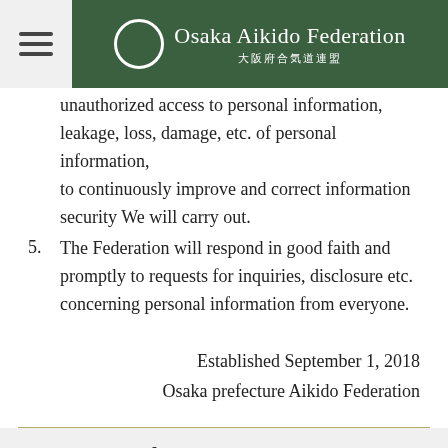Osaka Aikido Federation 大阪府合気道連盟
unauthorized access to personal information, leakage, loss, damage, etc. of personal information, to continuously improve and correct information security We will carry out.
5. The Federation will respond in good faith and promptly to requests for inquiries, disclosure etc. concerning personal information from everyone.
Established September 1, 2018
Osaka prefecture Aikido Federation
2, purpose of using personal information
In order to provide personal information from everyone, the Federation has specified the purpose of using personal information